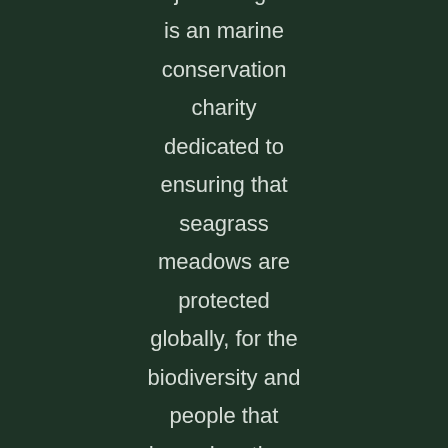Project Seagrass is an marine conservation charity dedicated to ensuring that seagrass meadows are protected globally, for the biodiversity and people that depend on them.